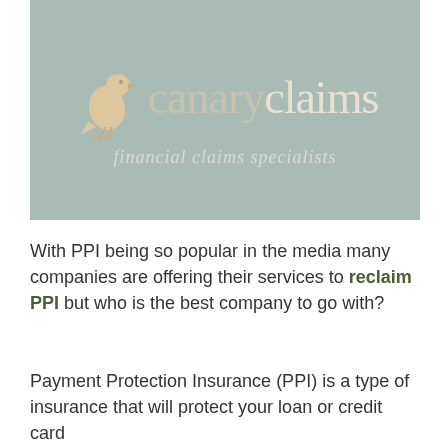[Figure (logo): Canary Claims logo on sage/teal green background with a canary bird silhouette in peach/cream, text 'canaryclaims' and subtitle 'financial claims specialists']
With PPI being so popular in the media many companies are offering their services to reclaim PPI but who is the best company to go with?
Payment Protection Insurance (PPI) is a type of insurance that will protect your loan or credit card